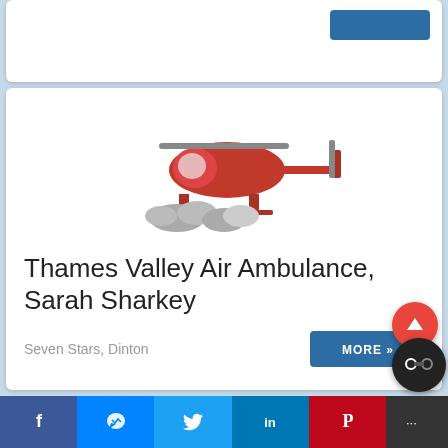[Figure (logo): Air Ambulance Berks Oxon Bucks logo with red helicopter and clouds above bold text reading AIR AMBULANCE BERKS | OXON | BUCKS]
Thames Valley Air Ambulance, Sarah Sharkey
Seven Stars, Dinton
[Figure (illustration): Blue MORE button with double chevron arrows]
[Figure (logo): Rotary club logo partial view showing Rotary text and gear wheel emblem]
[Figure (other): Red circular scroll-to-top button with upward arrow]
[Figure (other): Dark circular toggle/share button]
f  [messenger]  [twitter]  in  [pinterest]  [more]